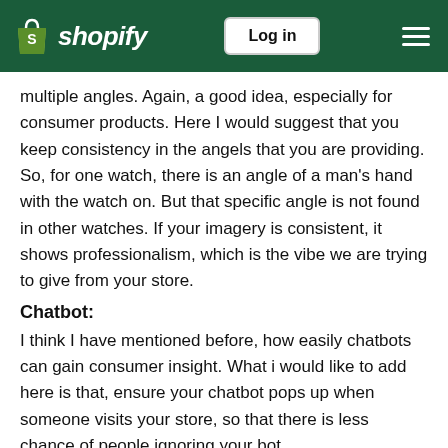shopify | Log in
multiple angles. Again, a good idea, especially for consumer products. Here I would suggest that you keep consistency in the angels that you are providing. So, for one watch, there is an angle of a man's hand with the watch on. But that specific angle is not found in other watches. If your imagery is consistent, it shows professionalism, which is the vibe we are trying to give from your store.
Chatbot:
I think I have mentioned before, how easily chatbots can gain consumer insight. What i would like to add here is that, ensure your chatbot pops up when someone visits your store, so that there is less chance of people ignoring your bot.